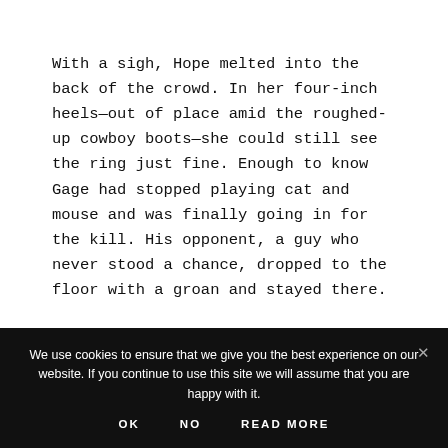With a sigh, Hope melted into the back of the crowd. In her four-inch heels—out of place amid the roughed-up cowboy boots—she could still see the ring just fine. Enough to know Gage had stopped playing cat and mouse and was finally going in for the kill. His opponent, a guy who never stood a chance, dropped to the floor with a groan and stayed there.
We use cookies to ensure that we give you the best experience on our website. If you continue to use this site we will assume that you are happy with it.
OK   NO   READ MORE